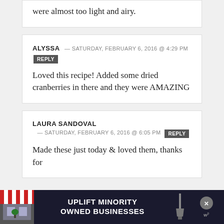were almost too light and airy.
ALYSSA — SATURDAY, FEBRUARY 6, 2016 @ 4:29 PM
Loved this recipe! Added some dried cranberries in there and they were AMAZING
LAURA SANDOVAL — SATURDAY, FEBRUARY 6, 2016 @ 6:05 PM
Made these just today & loved them, thanks for
[Figure (infographic): Advertisement banner: UPLIFT MINORITY OWNED BUSINESSES with store awning graphic on left and close button on right]